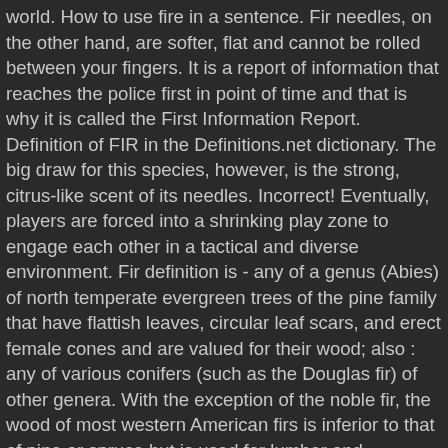world. How to use fire in a sentence. Fir needles, on the other hand, are softer, flat and cannot be rolled between your fingers. It is a report of information that reaches the police first in point of time and that is why it is called the First Information Report. Definition of FIR in the Definitions.net dictionary. The big draw for this species, however, is the strong, citrus-like scent of its needles. Incorrect! Eventually, players are forced into a shrinking play zone to engage each other in a tactical and diverse environment. Fir definition is - any of a genus (Abies) of north temperate evergreen trees of the pine family that have flattish leaves, circular leaf scars, and erect female cones and are valued for their wood; also : any of various conifers (such as the Douglas fir) of other genera. With the exception of the noble fir, the wood of most western American firs is inferior to that of pine or spruce but is used for lumber and pulpwood. Stolen Vehicles Search . Updates? 1.4 What are the advantages of IIR filters (compared to FIR filters)? It has, at various times, been called a pine, a spruce, a hemlock, and a true fir.